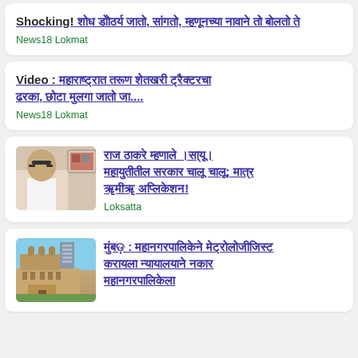Shocking! [Marathi text] News18 Lokmat
Video : [Marathi text] News18 Lokmat
[Figure (photo): Photo of a man with glasses in white shirt, with a framed picture in background]
[Marathi text] Loksatta
[Figure (photo): Photo of a historic building (appears to be Bombay High Court) with a modern tower in background, blue sky]
[Marathi text]